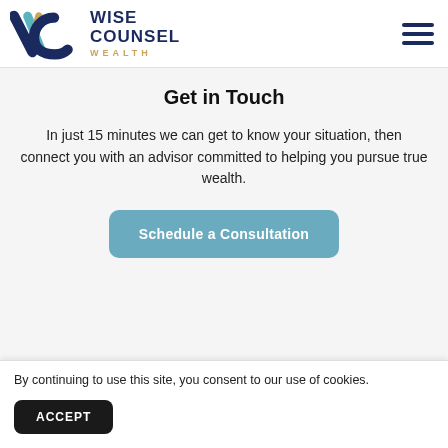Wise Counsel Wealth
Get in Touch
In just 15 minutes we can get to know your situation, then connect you with an advisor committed to helping you pursue true wealth.
Schedule a Consultation
By continuing to use this site, you consent to our use of cookies.
ACCEPT